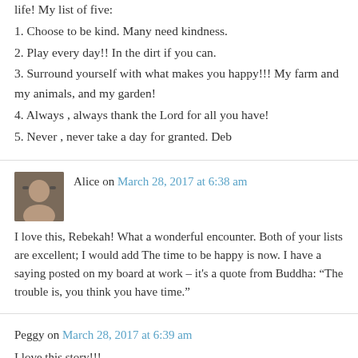life! My list of five:
1. Choose to be kind. Many need kindness.
2. Play every day!! In the dirt if you can.
3. Surround yourself with what makes you happy!!! My farm and my animals, and my garden!
4. Always , always thank the Lord for all you have!
5. Never , never take a day for granted. Deb
Alice on March 28, 2017 at 6:38 am
I love this, Rebekah! What a wonderful encounter. Both of your lists are excellent; I would add The time to be happy is now. I have a saying posted on my board at work – it's a quote from Buddha: “The trouble is, you think you have time.”
Peggy on March 28, 2017 at 6:39 am
I love this story!!!